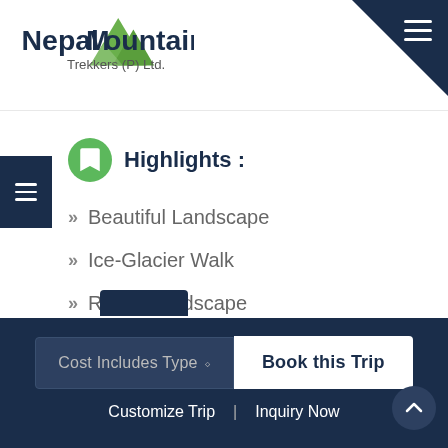[Figure (logo): Nepal Mountain Trekkers (P) Ltd. logo with mountain peak graphic]
Highlights :
» Beautiful Landscape
» Ice-Glacier Walk
» Rocky Landscape
» Prayer Flags
» Massive Mountain View
Cost Includes Type ⬦ | Book this Trip | Customize Trip | Inquiry Now